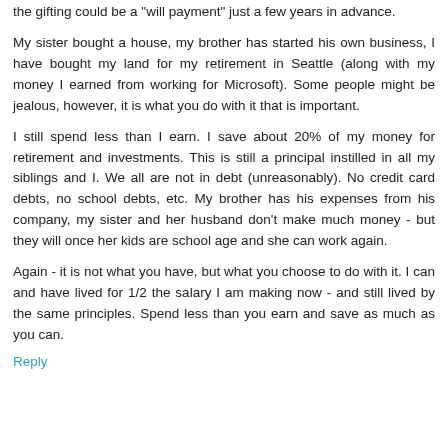the gifting could be a "will payment" just a few years in advance.
My sister bought a house, my brother has started his own business, I have bought my land for my retirement in Seattle (along with my money I earned from working for Microsoft). Some people might be jealous, however, it is what you do with it that is important.
I still spend less than I earn. I save about 20% of my money for retirement and investments. This is still a principal instilled in all my siblings and I. We all are not in debt (unreasonably). No credit card debts, no school debts, etc. My brother has his expenses from his company, my sister and her husband don't make much money - but they will once her kids are school age and she can work again.
Again - it is not what you have, but what you choose to do with it. I can and have lived for 1/2 the salary I am making now - and still lived by the same principles. Spend less than you earn and save as much as you can.
Reply